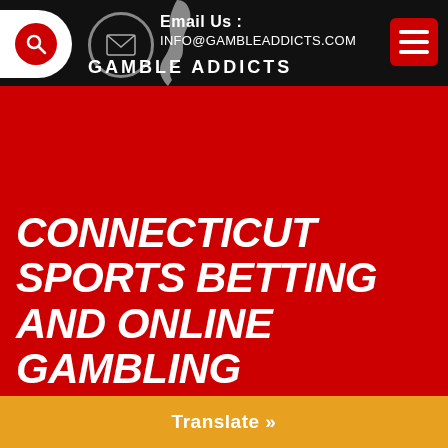GAMBLE ADDICTS — Email Us : INFO@GAMBLEADDICTS.COM
CONNECTICUT SPORTS BETTING AND ONLINE GAMBLING GROWTH COSTS HEADS TO GUV'S OFFICE.
Translate »